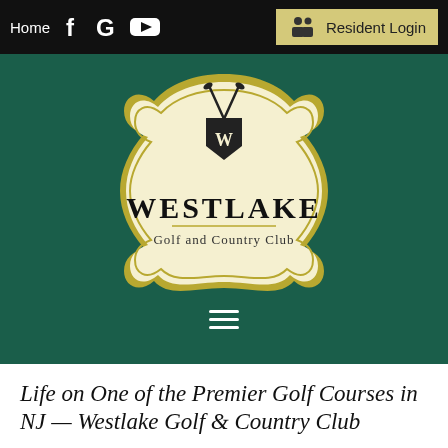Home   f  G  ▶   Resident Login
[Figure (logo): Westlake Golf and Country Club logo — ornate cream/gold badge shape with crossed golf clubs at top, shield with W emblem, and text 'WESTLAKE Golf and Country Club']
Life on One of the Premier Golf Courses in NJ — Westlake Golf & Country Club